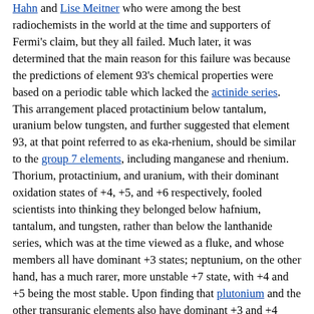Hahn and Lise Meitner who were among the best radiochemists in the world at the time and supporters of Fermi's claim, but they all failed. Much later, it was determined that the main reason for this failure was because the predictions of element 93's chemical properties were based on a periodic table which lacked the actinide series. This arrangement placed protactinium below tantalum, uranium below tungsten, and further suggested that element 93, at that point referred to as eka-rhenium, should be similar to the group 7 elements, including manganese and rhenium. Thorium, protactinium, and uranium, with their dominant oxidation states of +4, +5, and +6 respectively, fooled scientists into thinking they belonged below hafnium, tantalum, and tungsten, rather than below the lanthanide series, which was at the time viewed as a fluke, and whose members all have dominant +3 states; neptunium, on the other hand, has a much rarer, more unstable +7 state, with +4 and +5 being the most stable. Upon finding that plutonium and the other transuranic elements also have dominant +3 and +4 states, along with the discovery of the f-block, the actinide series was firmly established.[46][47]
While the question of whether Fermi's experiment had produced element 93 was stalemated, two additional claims of the discovery of the element appeared, although unlike Fermi, they both claimed to have observed it in nature. The first of these claims was by Czech engineer Odolen Koblic in 1934 when he extracted a small